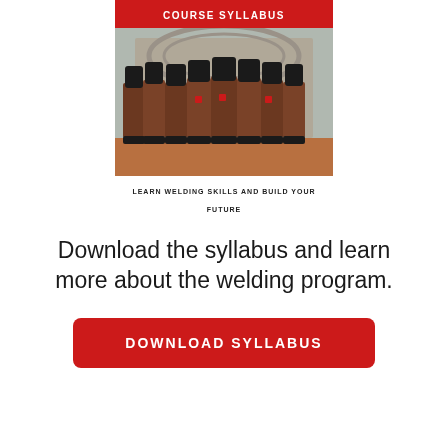[Figure (photo): Group of young welding students wearing brown leather welding jackets and black welding helmets, standing outdoors in front of a concrete structure. Banner text at top reads COURSE SYLLABUS and at bottom LEARN WELDING SKILLS AND BUILD YOUR FUTURE.]
Download the syllabus and learn more about the welding program.
DOWNLOAD SYLLABUS